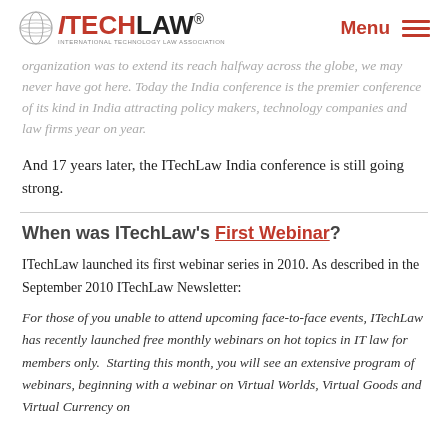ITechLaw® – International Technology Law Association | Menu
organization was to extend its reach halfway across the globe, we may never have got here. Today the India conference is the premier conference of its kind in India attracting policy makers, technology companies and law firms year on year.
And 17 years later, the ITechLaw India conference is still going strong.
When was ITechLaw's First Webinar?
ITechLaw launched its first webinar series in 2010. As described in the September 2010 ITechLaw Newsletter:
For those of you unable to attend upcoming face-to-face events, ITechLaw has recently launched free monthly webinars on hot topics in IT law for members only.  Starting this month, you will see an extensive program of webinars, beginning with a webinar on Virtual Worlds, Virtual Goods and Virtual Currency on